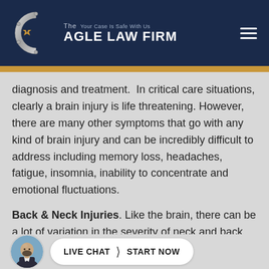[Figure (logo): The Cagle Law Firm logo with silver C emblem, firm name in white on dark navy background, tagline 'Your Case Is Safe With Us', and hamburger menu icon on the right]
diagnosis and treatment.  In critical care situations, clearly a brain injury is life threatening. However, there are many other symptoms that go with any kind of brain injury and can be incredibly difficult to address including memory loss, headaches, fatigue, insomnia, inability to concentrate and emotional fluctuations.
Back & Neck Injuries. Like the brain, there can be a lot of variation in the severity of neck and back injurie... m...
[Figure (other): Live chat widget with avatar photo of a bald bearded man in a suit, and a white pill-shaped button reading 'LIVE CHAT / START NOW']